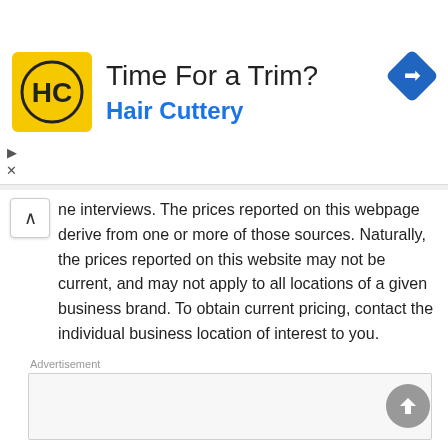[Figure (logo): Hair Cuttery advertisement banner with HC logo in yellow square, title 'Time For a Trim?' and subtitle 'Hair Cuttery' in blue, and a blue navigation diamond icon on the right]
ne interviews. The prices reported on this webpage derive from one or more of those sources. Naturally, the prices reported on this website may not be current, and may not apply to all locations of a given business brand. To obtain current pricing, contact the individual business location of interest to you.
[Figure (other): Empty advertisement placeholder box with 'Advertisement' label above it]